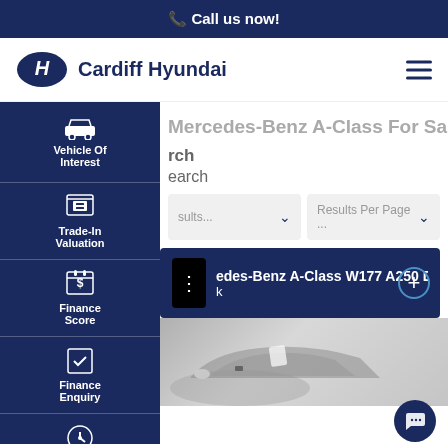📞 Call us now!
Cardiff Hyundai
Mercedes-Benz A-Class For Sale in Cardiff,
rch
earch
Results Per Page ...
edes-Benz A-Class W177 A250 DCT k
[Figure (photo): Partial front view of a silver Mercedes-Benz A-Class car]
Vehicle Of Interest
Trade-In Valuation
Finance Score
Finance Enquiry
Book A Test Drive